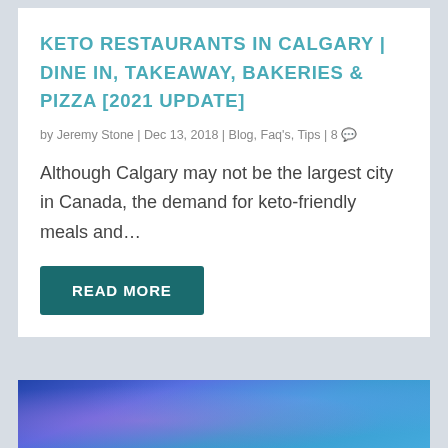KETO RESTAURANTS IN CALGARY | DINE IN, TAKEAWAY, BAKERIES & PIZZA [2021 UPDATE]
by Jeremy Stone | Dec 13, 2018 | Blog, Faq's, Tips | 8
Although Calgary may not be the largest city in Canada, the demand for keto-friendly meals and...
READ MORE
[Figure (photo): Blue and purple abstract background image, partially visible at bottom of page]